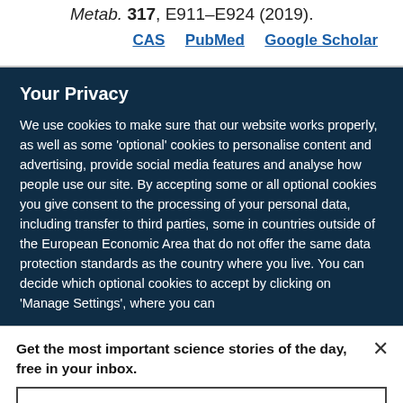Metab. 317, E911–E924 (2019).
CAS  PubMed  Google Scholar
Your Privacy
We use cookies to make sure that our website works properly, as well as some 'optional' cookies to personalise content and advertising, provide social media features and analyse how people use our site. By accepting some or all optional cookies you give consent to the processing of your personal data, including transfer to third parties, some in countries outside of the European Economic Area that do not offer the same data protection standards as the country where you live. You can decide which optional cookies to accept by clicking on 'Manage Settings', where you can
Get the most important science stories of the day, free in your inbox.
Sign up for Nature Briefing